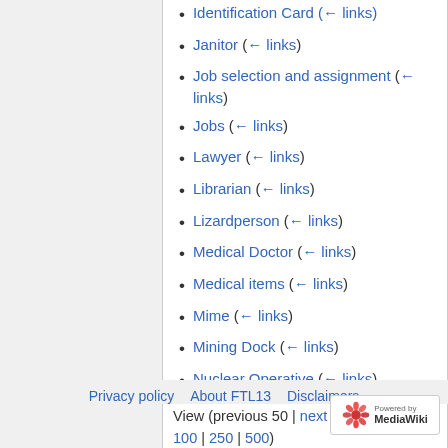Identification Card (← links)
Janitor (← links)
Job selection and assignment (← links)
Jobs (← links)
Lawyer (← links)
Librarian (← links)
Lizardperson (← links)
Medical Doctor (← links)
Medical items (← links)
Mime (← links)
Mining Dock (← links)
Nuclear Operative (← links)
View (previous 50 | next 50) (20 | 50 | 100 | 250 | 500)
Privacy policy   About FTL13   Disclaimers